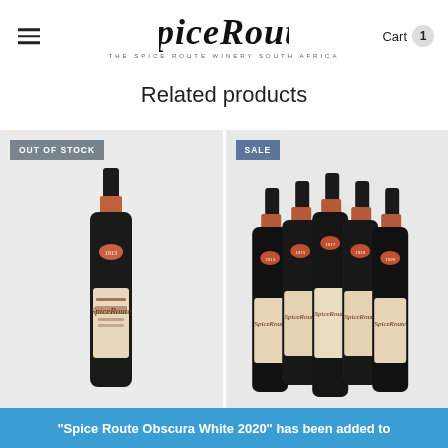Spice Route — THE SPICE ROUTE WINERY SOUTH AFRICA | Cart 1
Related products
[Figure (photo): Wine bottle product photo with OUT OF STOCK badge on grey background — Spice Route red wine bottle]
[Figure (photo): Multiple wine bottles product photo with SALE badge on grey background — Spice Route red wine bottles six-pack]
"Spice Route Obscura White 2020" has been added to